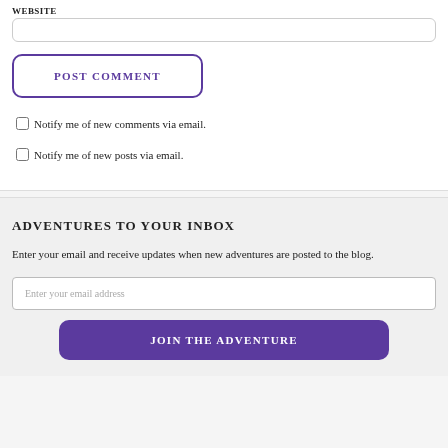WEBSITE
POST COMMENT
Notify me of new comments via email.
Notify me of new posts via email.
ADVENTURES TO YOUR INBOX
Enter your email and receive updates when new adventures are posted to the blog.
Enter your email address
JOIN THE ADVENTURE